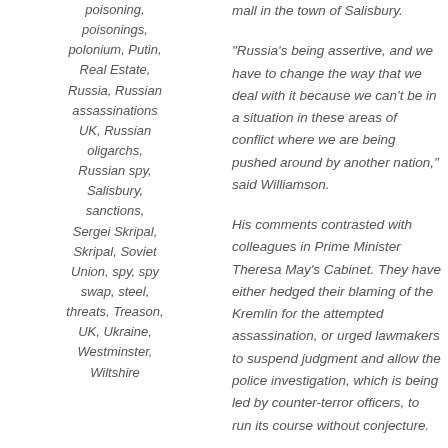poisoning, poisonings, polonium, Putin, Real Estate, Russia, Russian assassinations UK, Russian oligarchs, Russian spy, Salisbury, sanctions, Sergei Skripal, Skripal, Soviet Union, spy, spy swap, steel, threats, Treason, UK, Ukraine, Westminster, Wiltshire
mall in the town of Salisbury.
“Russia’s being assertive, and we have to change the way that we deal with it because we can’t be in a situation in these areas of conflict where we are being pushed around by another nation,” said Williamson.
His comments contrasted with colleagues in Prime Minister Theresa May’s Cabinet. They have either hedged their blaming of the Kremlin for the attempted assassination, or urged lawmakers to suspend judgment and allow the police investigation, which is being led by counter-terror officers, to run its course without conjecture.
Russian officials deny the Kremlin had anything to do with the assassination attempt, dubbing British allegations as hysterical and wild.